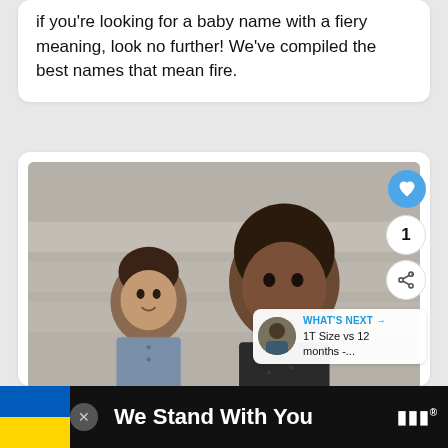if you're looking for a baby name with a fiery meaning, look no further! We've compiled the best names that mean fire.
[Figure (photo): Two young boys with curly hair sitting on stone steps, wearing casual shirts]
WHAT'S NEXT → 1T Size vs 12 months -...
We Stand With You